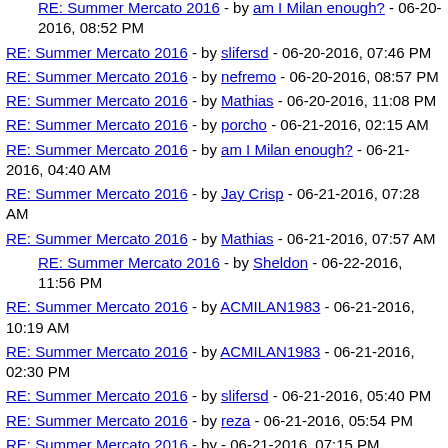RE: Summer Mercato 2016 - by am I Milan enough? - 06-20-2016, 08:52 PM
RE: Summer Mercato 2016 - by slifersd - 06-20-2016, 07:46 PM
RE: Summer Mercato 2016 - by nefremo - 06-20-2016, 08:57 PM
RE: Summer Mercato 2016 - by Mathias - 06-20-2016, 11:08 PM
RE: Summer Mercato 2016 - by porcho - 06-21-2016, 02:15 AM
RE: Summer Mercato 2016 - by am I Milan enough? - 06-21-2016, 04:40 AM
RE: Summer Mercato 2016 - by Jay Crisp - 06-21-2016, 07:28 AM
RE: Summer Mercato 2016 - by Mathias - 06-21-2016, 07:57 AM
RE: Summer Mercato 2016 - by Sheldon - 06-22-2016, 11:56 PM
RE: Summer Mercato 2016 - by ACMILAN1983 - 06-21-2016, 10:19 AM
RE: Summer Mercato 2016 - by ACMILAN1983 - 06-21-2016, 02:30 PM
RE: Summer Mercato 2016 - by slifersd - 06-21-2016, 05:40 PM
RE: Summer Mercato 2016 - by reza - 06-21-2016, 05:54 PM
RE: Summer Mercato 2016 - by ... - 06-21-2016, 07:15 PM